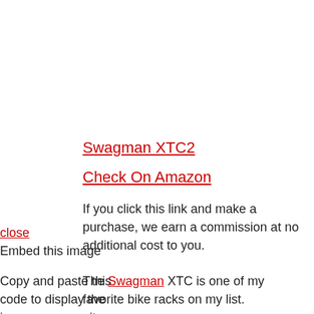Swagman XTC2
Check On Amazon
If you click this link and make a purchase, we earn a commission at no additional cost to you.
close
Embed this image
The Swagman XTC is one of my favorite bike racks on my list.
Copy and paste this code to display the image on your site